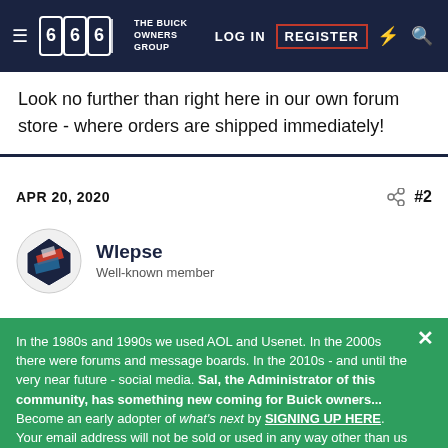THE BUICK OWNERS GROUP — LOG IN | REGISTER
Look no further than right here in our own forum store - where orders are shipped immediately!
APR 20, 2020  #2
Wlepse
Well-known member
In the 1980s and 1990s we used AOL and Usenet. In the 2000s there were forums and message boards. In the 2010s - and until the very near future - social media. Sal, the Administrator of this community, has something new coming for Buick owners... Become an early adopter of what's next by SIGNING UP HERE. Your email address will not be sold or used in any way other than us communicating more details as we prepare for launch - and we will not communicate often.